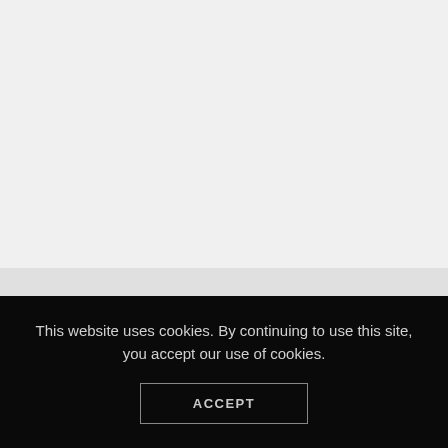[Figure (other): Light gray background area filling the upper portion of the page]
This website uses cookies. By continuing to use this site, you accept our use of cookies.
ACCEPT